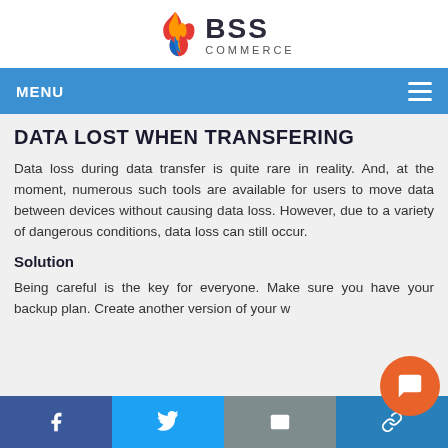[Figure (logo): BSS Commerce logo with flame icon and text 'BSS COMMERCE']
MENU
DATA LOST WHEN TRANSFERING
Data loss during data transfer is quite rare in reality. And, at the moment, numerous such tools are available for users to move data between devices without causing data loss. However, due to a variety of dangerous conditions, data loss can still occur.
Solution
Being careful is the key for everyone. Make sure you have your backup plan. Create another version of your w...